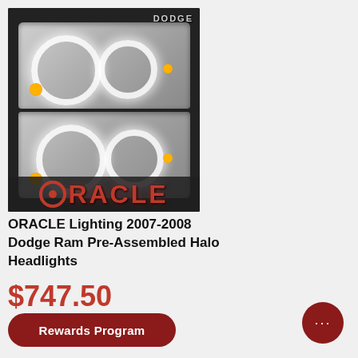[Figure (photo): ORACLE Lighting product photo showing two Dodge Ram halo headlights with white LED halo rings, viewed from the front. 'DODGE RAM' text visible in upper right of image. ORACLE logo in red at the bottom of the image.]
ORACLE Lighting 2007-2008 Dodge Ram Pre-Assembled Halo Headlights
$747.50
Rewards Program